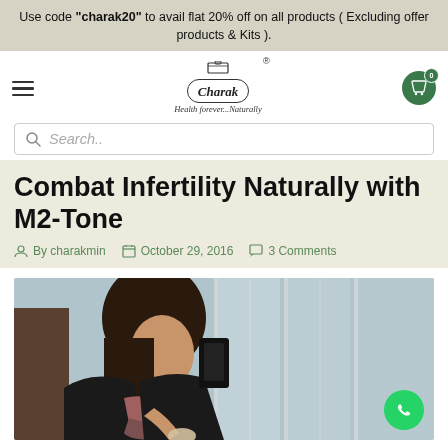Use code "charak20" to avail flat 20% off on all products ( Excluding offer products & Kits ).
[Figure (logo): Charak brand logo with oval border and tagline 'Health forever...Naturally']
Combat Infertility Naturally with M2-Tone
By charakmin   October 29, 2016   3 Comments
[Figure (photo): A woman with dark hair in a leather jacket sitting and looking pensively out a window while holding a coffee cup]
[vc_row][vc_column][vc_column_text]For most couples, there